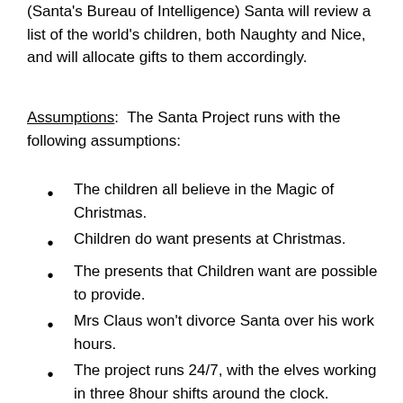(Santa's Bureau of Intelligence) Santa will review a list of the world's children, both Naughty and Nice, and will allocate gifts to them accordingly.
Assumptions:  The Santa Project runs with the following assumptions:
The children all believe in the Magic of Christmas.
Children do want presents at Christmas.
The presents that Children want are possible to provide.
Mrs Claus won't divorce Santa over his work hours.
The project runs 24/7, with the elves working in three 8hour shifts around the clock.
There are unlimited funds for the completion of this project.